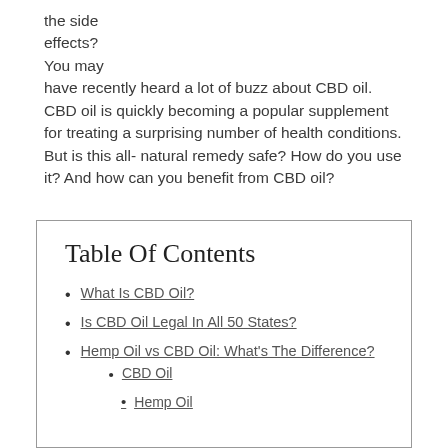the side effects? You may have recently heard a lot of buzz about CBD oil. CBD oil is quickly becoming a popular supplement for treating a surprising number of health conditions. But is this all-natural remedy safe? How do you use it? And how can you benefit from CBD oil?
Table Of Contents
What Is CBD Oil?
Is CBD Oil Legal In All 50 States?
Hemp Oil vs CBD Oil: What's The Difference?
CBD Oil
Hemp Oil